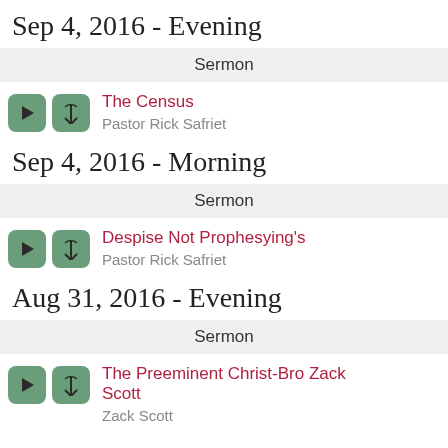Sep 4, 2016 - Evening
Sermon
The Census
Pastor Rick Safriet
Sep 4, 2016 - Morning
Sermon
Despise Not Prophesying's
Pastor Rick Safriet
Aug 31, 2016 - Evening
Sermon
The Preeminent Christ-Bro Zack Scott
Zack Scott